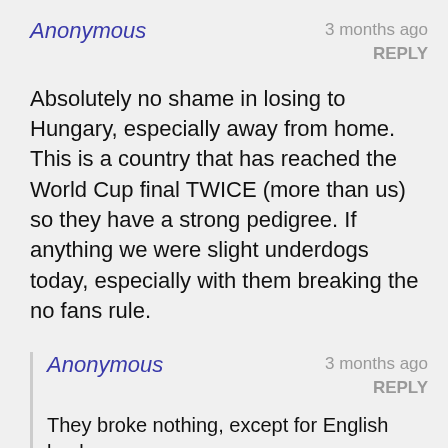Anonymous
3 months ago
REPLY
Absolutely no shame in losing to Hungary, especially away from home. This is a country that has reached the World Cup final TWICE (more than us) so they have a strong pedigree. If anything we were slight underdogs today, especially with them breaking the no fans rule.
Anonymous
3 months ago
REPLY
They broke nothing, except for English bucks.